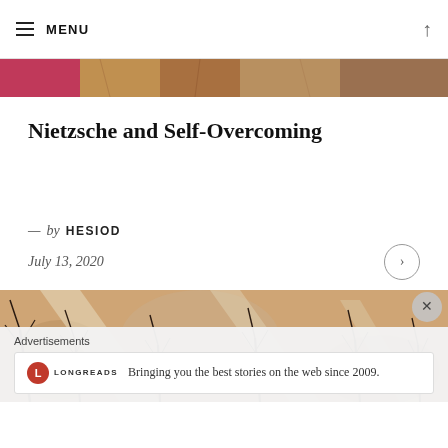MENU
[Figure (photo): Partial image strip at top of page showing colorful painted or photographic artwork including pink/red and warm earthy tones]
Nietzsche and Self-Overcoming
— by HESIOD
July 13, 2020
[Figure (photo): Painting or illustration of dark bare tree branches against a warm autumnal background with earthy orange, pink, and brown tones]
Advertisements
Bringing you the best stories on the web since 2009.